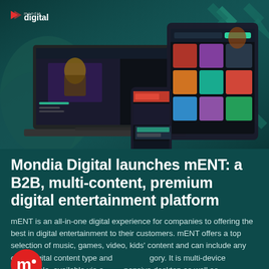[Figure (illustration): Hero image showing Mondia Digital mENT platform displayed on laptop, mobile phone, and tablet devices against a teal/dark green background with geometric pattern. Mondia Digital logo shown in top left.]
Mondia Digital launches mENT: a B2B, multi-content, premium digital entertainment platform
mENT is an all-in-one digital experience for companies to offering the best in digital entertainment to their customers. mENT offers a top selection of music, games, video, kids' content and can include any other digital content type and gory. It is multi-device compatible, available via a ponsive desktop as well as…